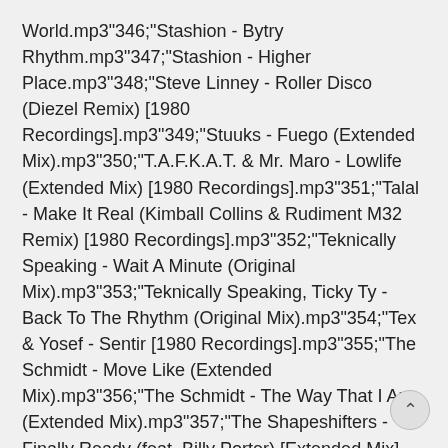World.mp3"346;"Stashion - Bytry Rhythm.mp3"347;"Stashion - Higher Place.mp3"348;"Steve Linney - Roller Disco (Diezel Remix) [1980 Recordings].mp3"349;"Stuuks - Fuego (Extended Mix).mp3"350;"T.A.F.K.A.T. & Mr. Maro - Lowlife (Extended Mix) [1980 Recordings].mp3"351;"Talal - Make It Real (Kimball Collins & Rudiment M32 Remix) [1980 Recordings].mp3"352;"Teknically Speaking - Wait A Minute (Original Mix).mp3"353;"Teknically Speaking, Ticky Ty - Back To The Rhythm (Original Mix).mp3"354;"Tex & Yosef - Sentir [1980 Recordings].mp3"355;"The Schmidt - Move Like (Extended Mix).mp3"356;"The Schmidt - The Way That I Am (Extended Mix).mp3"357;"The Shapeshifters - Finally Ready (feat. Billy Porter) [Extended Mix] [ITH (Defected In The House)].mp3"358;"Theory-M - Molecular Injection (Original Mix).mp3"359;"Theory-M - Primordial Sound (Original Mix).mp3"360;"Theory-M - Theory of Magic